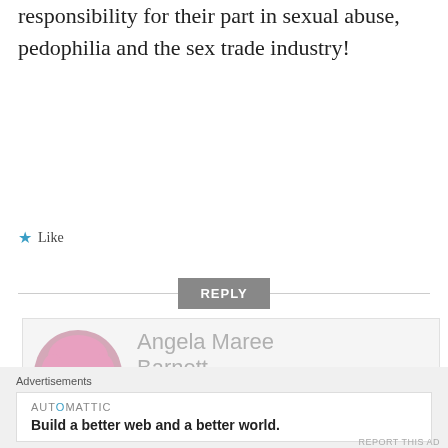responsibility for their part in sexual abuse, pedophilia and the sex trade industry!
★ Like
REPLY
[Figure (photo): Avatar photo of Angela Maree Barnett - woman with pink hair]
Angela Maree Barnett
MARCH 17, 2016 AT 9:14 AM
Thanks Paula, I am sick of it too
Advertisements
AUTOMATTIC
Build a better web and a better world.